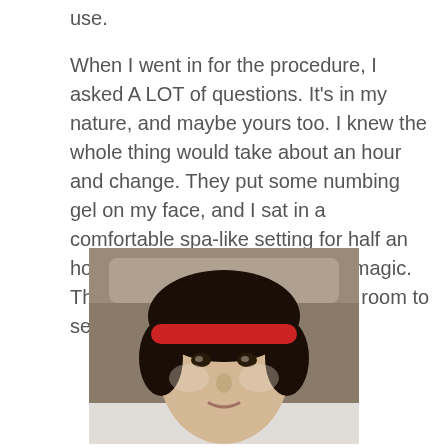use.
When I went in for the procedure, I asked A LOT of questions. It's in my nature, and maybe yours too. I knew the whole thing would take about an hour and change. They put some numbing gel on my face, and I sat in a comfortable spa-like setting for half an hour while it started working its' magic. Then they took me into the laser room to see Dr. Sieffert.
[Figure (photo): Photo of a woman with dark hair pulled back with a red headband, lying on what appears to be a spa/medical chair, looking at the camera with numbing gel applied to her face.]